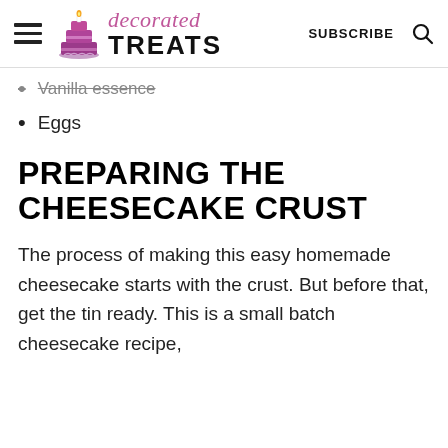decorated TREATS | SUBSCRIBE
Vanilla essence
Eggs
PREPARING THE CHEESECAKE CRUST
The process of making this easy homemade cheesecake starts with the crust. But before that, get the tin ready. This is a small batch cheesecake recipe,